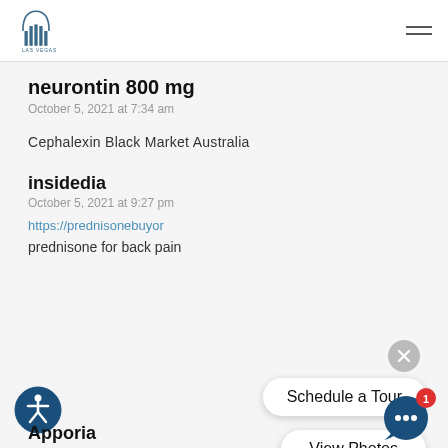ICON Las Vegas
neurontin 800 mg
October 5, 2021 at 7:34 am
Cephalexin Black Market Australia
insidedia
October 5, 2021 at 9:27 pm
https://prednisonebuyor…
prednisone for back pain
[Figure (screenshot): Overlay popup with close (X) button and three rounded pill-shaped buttons: 'Schedule a Tour', 'View Photos', 'Prices / Availability']
[Figure (illustration): Accessibility icon - circular blue icon with wheelchair user symbol]
[Figure (illustration): Chat bubble icon with notification badge showing '1']
Apporia